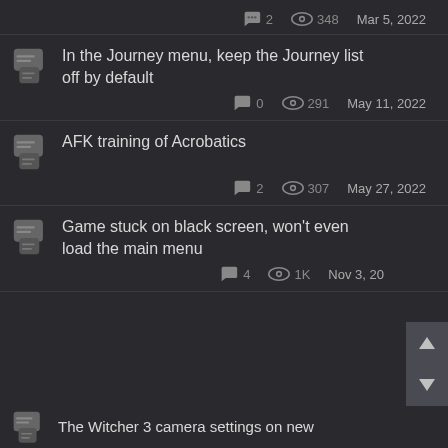In the Journey menu, keep the Journey list off by default — 0 comments, 291 views, May 11, 2022
AFK training of Acrobatics — 2 comments, 307 views, May 27, 2022
Game stuck on black screen, won't even load the main menu — 4 comments, 1K views, Nov 3, 2021
The Witcher 3 camera settings on new (partial)